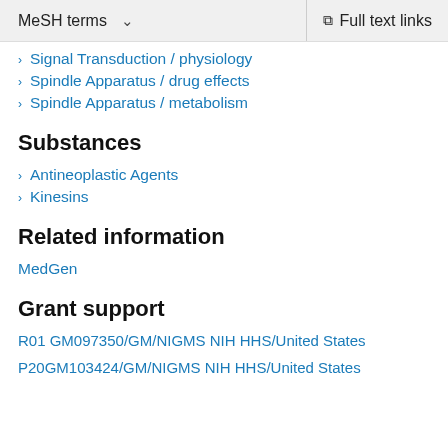MeSH terms  ∨    Full text links
Signal Transduction / physiology
Spindle Apparatus / drug effects
Spindle Apparatus / metabolism
Substances
Antineoplastic Agents
Kinesins
Related information
MedGen
Grant support
R01 GM097350/GM/NIGMS NIH HHS/United States
P20GM103424/GM/NIGMS NIH HHS/United States